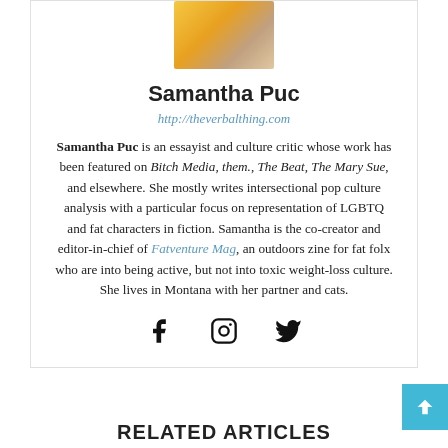[Figure (photo): Cropped photo of Samantha Puc, showing top of head and shoulders, wearing yellow/golden top]
Samantha Puc
http://theverbalthing.com
Samantha Puc is an essayist and culture critic whose work has been featured on Bitch Media, them., The Beat, The Mary Sue, and elsewhere. She mostly writes intersectional pop culture analysis with a particular focus on representation of LGBTQ and fat characters in fiction. Samantha is the co-creator and editor-in-chief of Fatventure Mag, an outdoors zine for fat folx who are into being active, but not into toxic weight-loss culture. She lives in Montana with her partner and cats.
[Figure (infographic): Social media icons: Facebook, Instagram, Twitter]
RELATED ARTICLES